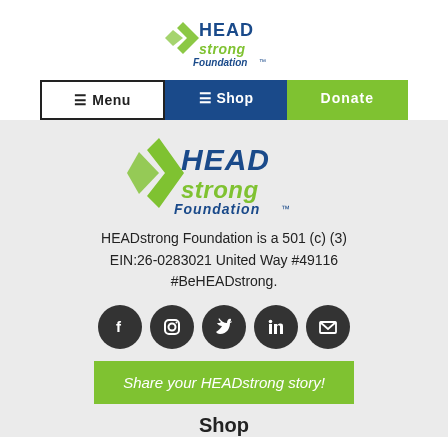[Figure (logo): HEADstrong Foundation logo (small, top navigation area)]
[Figure (infographic): Navigation bar with Menu, Shop, and Donate buttons]
[Figure (logo): HEADstrong Foundation logo (large, gray section)]
HEADstrong Foundation is a 501 (c) (3) EIN:26-0283021 United Way #49116 #BeHEADstrong.
[Figure (infographic): Social media icon buttons: Facebook, Instagram, Twitter, LinkedIn, Email]
[Figure (infographic): Share your HEADstrong story! green button]
Shop